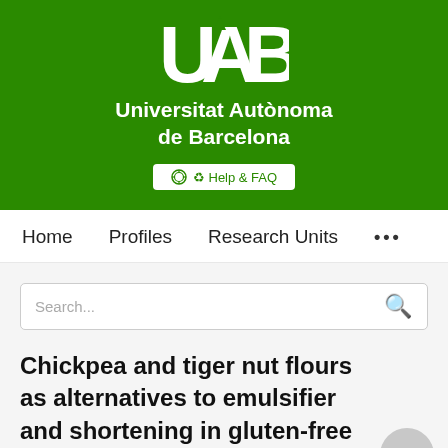[Figure (logo): UAB (Universitat Autònoma de Barcelona) logo on green background with white text and UAB monogram]
Home   Profiles   Research Units   ...
Search...
Chickpea and tiger nut flours as alternatives to emulsifier and shortening in gluten-free bread